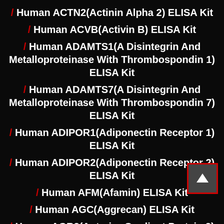/ Human ACTN2(Actinin Alpha 2) ELISA Kit
/ Human ACVB(Activin B) ELISA Kit
/ Human ADAMTS1(A Disintegrin And Metalloproteinase With Thrombospondin 1) ELISA Kit
/ Human ADAMTS7(A Disintegrin And Metalloproteinase With Thrombospondin 7) ELISA Kit
/ Human ADIPOR1(Adiponectin Receptor 1) ELISA Kit
/ Human ADIPOR2(Adiponectin Receptor 2) ELISA Kit
/ Human AFM(Afamin) ELISA Kit
/ Human AGC(Aggrecan) ELISA Kit
/ Human AGR2(Anterior Gradient Protein 2) ELISA Kit
/ Human ALAD(Aminolevulinate Delta Dehydratase) ELISA Kit
/ Human ALDM(Aldehyde Dehydrogenase, Mitochondrial) ELISA Kit
/ Human Alk-Smase(Alkaline Sphingomyelinase)